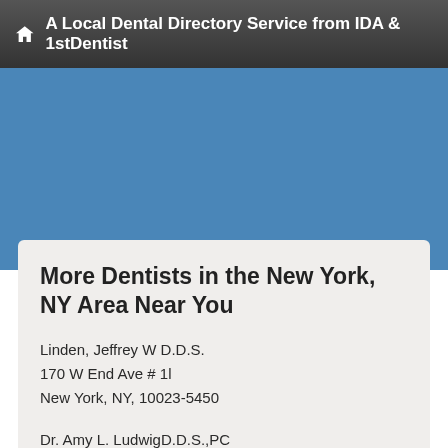A Local Dental Directory Service from IDA & 1stDentist
More Dentists in the New York, NY Area Near You
Linden, Jeffrey W D.D.S.
170 W End Ave # 1l
New York, NY, 10023-5450
Dr. Amy L. LudwigD.D.S.,PC
630 5th Avenue,Suite 1810
New York, NY, 10111